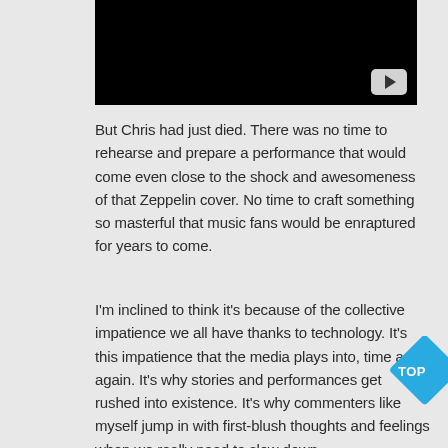[Figure (screenshot): Black video player thumbnail with YouTube play button in bottom-right corner]
But Chris had just died. There was no time to rehearse and prepare a performance that would come even close to the shock and awesomeness of that Zeppelin cover. No time to craft something so masterful that music fans would be enraptured for years to come.
I'm inclined to think it's because of the collective impatience we all have thanks to technology. It's this impatience that the media plays into, time and again. It's why stories and performances get rushed into existence. It's why commenters like myself jump in with first-blush thoughts and feelings when we really need to slow down